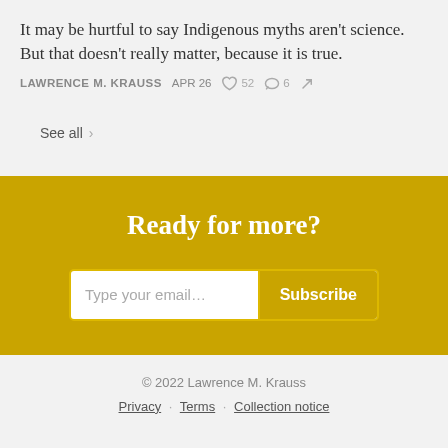It may be hurtful to say Indigenous myths aren't science. But that doesn't really matter, because it is true.
LAWRENCE M. KRAUSS   APR 26   ♡ 52   ○ 6   ↗
See all ›
Ready for more?
Type your email... Subscribe
© 2022 Lawrence M. Krauss
Privacy · Terms · Collection notice